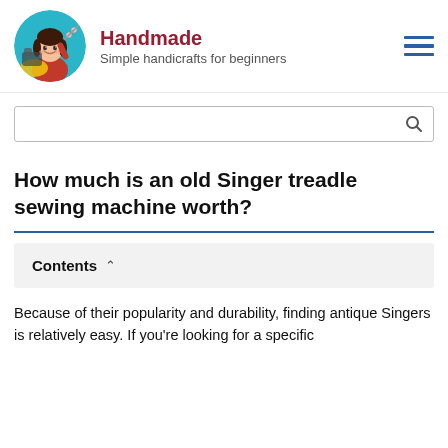Handmade
Simple handicrafts for beginners
[Figure (illustration): Circular logo with teal background showing a cartoon woman with dark hair in a red outfit near a sewing machine with yellow fabric]
How much is an old Singer treadle sewing machine worth?
Contents
Because of their popularity and durability, finding antique Singers is relatively easy. If you're looking for a specific model, you may need to shop around or use a machine. Prev...